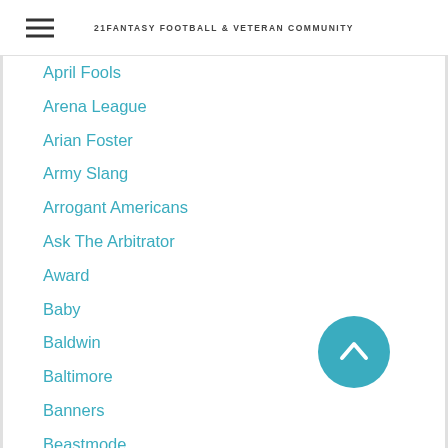21 FANTASY FOOTBALL & VETERAN COMMUNITY
April Fools
Arena League
Arian Foster
Army Slang
Arrogant Americans
Ask The Arbitrator
Award
Baby
Baldwin
Baltimore
Banners
Beastmode
Beer
Bellar
Benefits
Bios
Blue-falcons